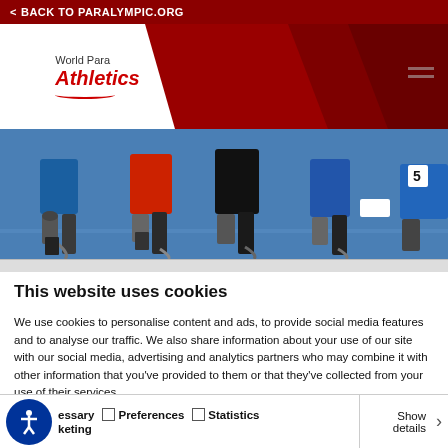< BACK TO PARALYMPIC.ORG
[Figure (logo): World Para Athletics logo — white box with italic red 'Athletics' text and swoosh, on dark red header background with hamburger menu icon]
[Figure (photo): Close-up of para-athletes legs with prosthetic blades on a blue track, wearing colorful shorts]
This website uses cookies
We use cookies to personalise content and ads, to provide social media features and to analyse our traffic. We also share information about your use of our site with our social media, advertising and analytics partners who may combine it with other information that you've provided to them or that they've collected from your use of their services.
Allow all cookies
Allow selection
Use necessary cookies on
Necessary  Preferences  Statistics  Marketing  Show details